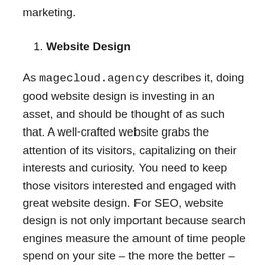marketing.
1. Website Design
As magecloud.agency describes it, doing good website design is investing in an asset, and should be thought of as such that. A well-crafted website grabs the attention of its visitors, capitalizing on their interests and curiosity. You need to keep those visitors interested and engaged with great website design. For SEO, website design is not only important because search engines measure the amount of time people spend on your site – the more the better – but your website structure and navigation is crucial. Search engine bots crawl sites to make sure they are trustworthy and therefore can be trusted to be ranked highly. This means that your